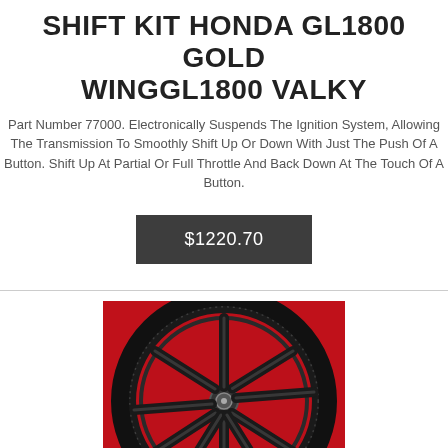SHIFT KIT HONDA GL1800 GOLD WINGGL1800 VALKY
Part Number 77000. Electronically Suspends The Ignition System, Allowing The Transmission To Smoothly Shift Up Or Down With Just The Push Of A Button. Shift Up At Partial Or Full Throttle And Back Down At The Touch Of A Button.
$1220.70
[Figure (photo): Motorcycle wheel with multi-spoke design on a red background]